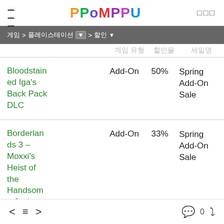≡  PPOMPPU  □□□
게임 > 플레이스테이션 ▼ > 할인 ▼
| 게임 타이틀 | 게임 유형 | 할인율 | 세일명 |
| --- | --- | --- | --- |
| Bloodstained Iga's Back Pack DLC | Add-On | 50% | Spring Add-On Sale |
| Borderlands 3 – Moxxi's Heist of the Handsome Jackpot | Add-On | 33% | Spring Add-On Sale |
| Borderlands 3: Bounty of Blood | Add-On | 33% | Spring Add-On Sale |
< ≡ >   💬 0  ↺